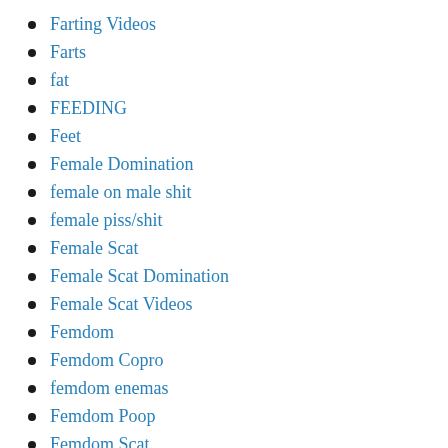Farting Videos
Farts
fat
FEEDING
Feet
Female Domination
female on male shit
female piss/shit
Female Scat
Female Scat Domination
Female Scat Videos
Femdom
Femdom Copro
femdom enemas
Femdom Poop
Femdom Scat